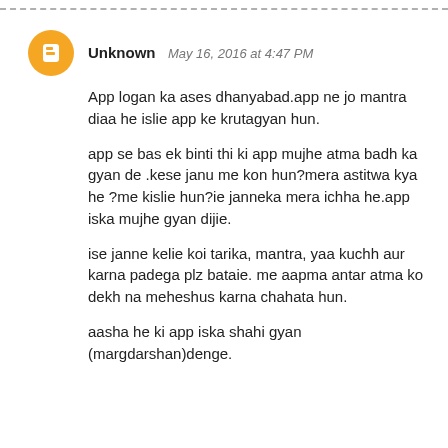--- dashed top border ---
Unknown  May 16, 2016 at 4:47 PM

App logan ka ases dhanyabad.app ne jo mantra diaa he islie app ke krutagyan hun.

app se bas ek binti thi ki app mujhe atma badh ka gyan de .kese janu me kon hun?mera astitwa kya he ?me kislie hun?ie janneka mera ichha he.app iska mujhe gyan dijie.

ise janne kelie koi tarika, mantra, yaa kuchh aur karna padega plz bataie. me aapma antar atma ko dekh na meheshus karna chahata hun.

aasha he ki app iska shahi gyan (margdarshan)denge.